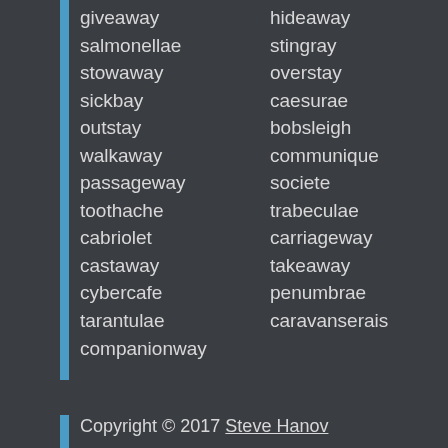giveaway   hideaway
salmonellae   stingray
stowaway   overstay
sickbay   caesurae
outstay   bobsleigh
walkaway   communique
passageway   societe
toothache   trabeculae
cabriolet   carriageway
castaway   takeaway
cybercafe   penumbrae
tarantulae   caravanserais
companionway
Copyright © 2017 Steve Hanov